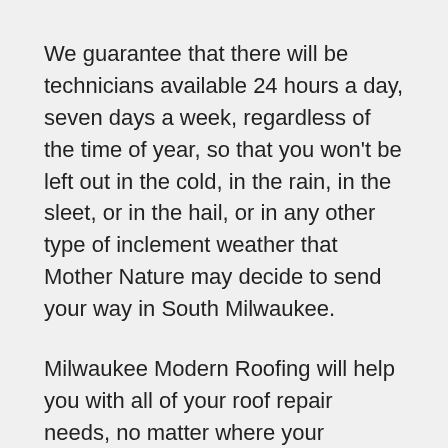We guarantee that there will be technicians available 24 hours a day, seven days a week, regardless of the time of year, so that you won't be left out in the cold, in the rain, in the sleet, or in the hail, or in any other type of inclement weather that Mother Nature may decide to send your way in South Milwaukee.
Milwaukee Modern Roofing will help you with all of your roof repair needs, no matter where your structure or structures are situated in the greater Milwaukee area which includes South Milwaukee. In order to restore your roof to functioning condition, we will only use the finest materials and tried-and-true procedures, and we will do so promptly and professionally –